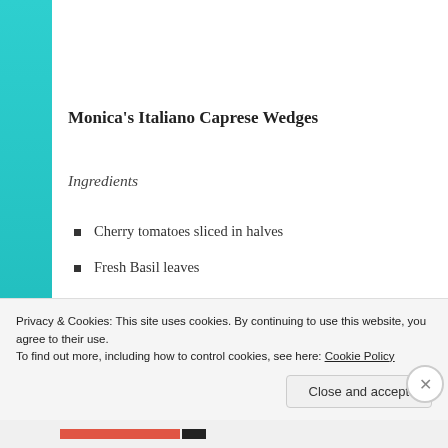Monica's Italiano Caprese Wedges
Ingredients
Cherry tomatoes sliced in halves
Fresh Basil leaves
Italian herbs
Garlic Sea Salt
Whole Black Pepper grinded
Privacy & Cookies: This site uses cookies. By continuing to use this website, you agree to their use.
To find out more, including how to control cookies, see here: Cookie Policy
Close and accept